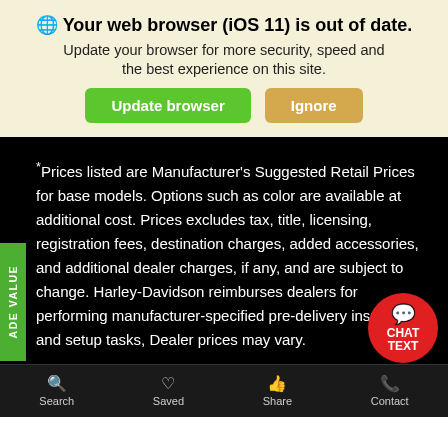🌐 Your web browser (iOS 11) is out of date.
Update your browser for more security, speed and the best experience on this site.
Update browser | Ignore
*Prices listed are Manufacturer's Suggested Retail Prices for base models. Options such as color are available at additional cost. Prices excludes tax, title, licensing, registration fees, destination charges, added accessories, and additional dealer charges, if any, and are subject to change. Harley-Davidson reimburses dealers for performing manufacturer-specified pre-delivery inspection and setup tasks, Dealer prices may vary.
Search  Saved  Share  Contact